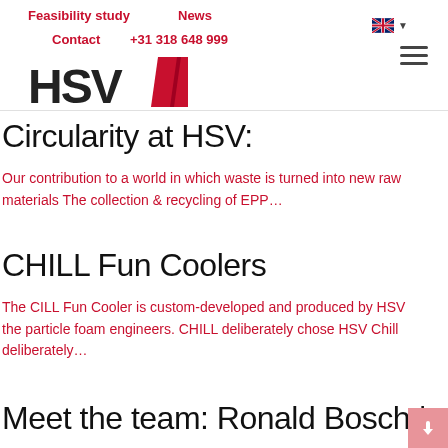Feasibility study   News   Contact   +31 318 648 999
[Figure (logo): HSV logo with red geometric shape]
Circularity at HSV:
Our contribution to a world in which waste is turned into new raw materials The collection & recycling of EPP…
CHILL Fun Coolers
The CILL Fun Cooler is custom-developed and produced by HSV the particle foam engineers. CHILL deliberately chose HSV Chill deliberately…
Meet the team: Ronald Bosch |